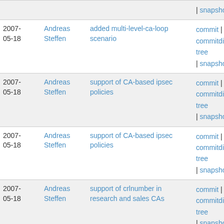| Date | Author | Description | Links |
| --- | --- | --- | --- |
|  |  |  | | snapshot |
| 2007-05-18 | Andreas Steffen | added multi-level-ca-loop scenario | commit | commitdiff | tree | snapshot |
| 2007-05-18 | Andreas Steffen | support of CA-based ipsec policies | commit | commitdiff | tree | snapshot |
| 2007-05-18 | Andreas Steffen | support of CA-based ipsec policies | commit | commitdiff | tree | snapshot |
| 2007-05-18 | Andreas Steffen | support of crlnumber in research and sales CAs | commit | commitdiff | tree | snapshot |
| 2007-05-18 | Andreas Steffen | added multi-level-ca-ldap scenario | commit | commitdiff | tree | snapshot |
| 2007-05-18 | Andreas Steffen | added multi-level-ca scenario | commit | commitdiff | tree | snapshot |
| 2007-05-18 | Andreas Steffen | ca-based policy now requires rightca=%any in the two... | commit | commitdiff | tree |